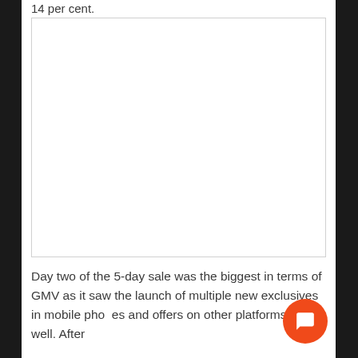14 per cent.
[Figure (other): Empty white image placeholder box with light border]
Day two of the 5-day sale was the biggest in terms of GMV as it saw the launch of multiple new exclusives in mobile phones and offers on other platforms as well. After